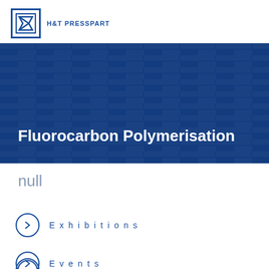[Figure (screenshot): H&T Presspart website screenshot showing company logo with stylized 'Z' icon, navigation header with search and menu icons on blue diagonal background]
Fluorocarbon Polymerisation
null
Exhibitions
Events